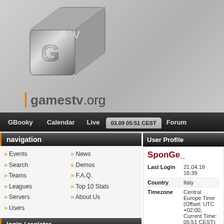[Figure (logo): GTV logo - metallic 3D cube with letters G and TV]
gamestv.org
GBooky   Calendar   Live   03.09 05:51 CEST   Forum
navigation
Events
Search
Teams
Leagues
Servers
Users
News
Demos
F.A.Q.
Top 10 Stats
About Us
login / register
Cookie   Lost password
recent threads
User Profile
SponGe_
| Field | Value |
| --- | --- |
| Last Login | 21.04.18 16:39 |
| Country | Italy |
| Timezone | Central Europe Time (Offset: UTC +02:00, Current Time: 05:51 CEST) |
| Member Since | 25th May 2007 |
| GBooky | view SponGe_'s |